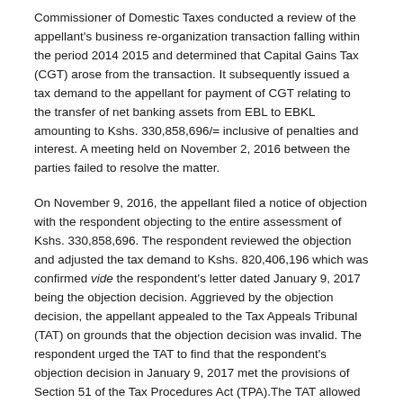Commissioner of Domestic Taxes conducted a review of the appellant's business re-organization transaction falling within the period 2014 2015 and determined that Capital Gains Tax (CGT) arose from the transaction. It subsequently issued a tax demand to the appellant for payment of CGT relating to the transfer of net banking assets from EBL to EBKL amounting to Kshs. 330,858,696/= inclusive of penalties and interest. A meeting held on November 2, 2016 between the parties failed to resolve the matter.
On November 9, 2016, the appellant filed a notice of objection with the respondent objecting to the entire assessment of Kshs. 330,858,696. The respondent reviewed the objection and adjusted the tax demand to Kshs. 820,406,196 which was confirmed vide the respondent's letter dated January 9, 2017 being the objection decision. Aggrieved by the objection decision, the appellant appealed to the Tax Appeals Tribunal (TAT) on grounds that the objection decision was invalid. The respondent urged the TAT to find that the respondent's objection decision in January 9, 2017 met the provisions of Section 51 of the Tax Procedures Act (TPA).The TAT allowed the appeal and set aside the respondents Capital Gains Tax Assessment amounting to Kshs. 820,406,196 inclusive of penalties and interests.